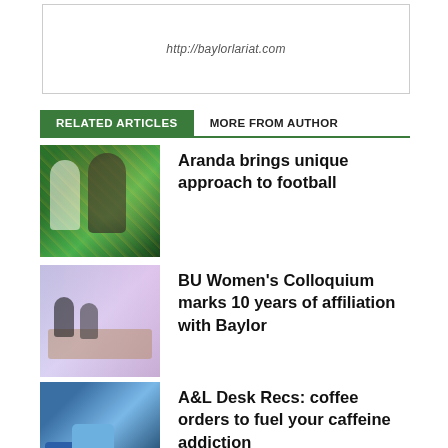http://baylorlariat.com
RELATED ARTICLES  MORE FROM AUTHOR
[Figure (photo): Photo of a person on a football field with green and gold confetti]
Aranda brings unique approach to football
[Figure (photo): Photo of women seated around a table at a colloquium event]
BU Women's Colloquium marks 10 years of affiliation with Baylor
[Figure (photo): Photo of coffee mugs and pottery]
A&L Desk Recs: coffee orders to fuel your caffeine addiction